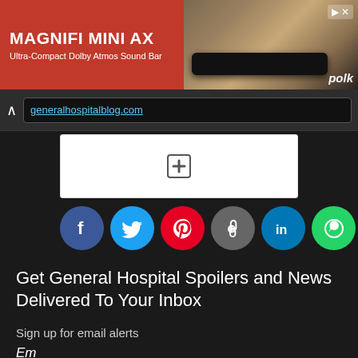[Figure (screenshot): Advertisement banner for Polk Audio MagniFi Mini AX Ultra-Compact Dolby Atmos Sound Bar. Red background on left with white bold text, soundbar photo on right with 'polk' branding.]
generalhospitalblog.com
[Figure (screenshot): White box with a plus (+) button icon in the center, for adding content.]
[Figure (infographic): Row of circular social media share buttons: Facebook (blue), Twitter (light blue), Pinterest (red), Copy Link (gray), LinkedIn (blue), WhatsApp (green), More options (green).]
Get General Hospital Spoilers and News Delivered To Your Inbox
Sign up for email alerts
Email
[Figure (screenshot): Bottom share bar with three sections: Twitter (light blue), Facebook (dark blue), Pinterest (red), each with respective icons.]